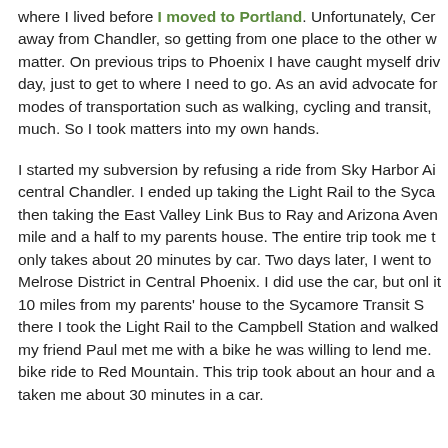where I lived before I moved to Portland. Unfortunately, Cer away from Chandler, so getting from one place to the other w matter. On previous trips to Phoenix I have caught myself dri day, just to get to where I need to go. As an avid advocate fo modes of transportation such as walking, cycling and transit, much. So I took matters into my own hands.

I started my subversion by refusing a ride from Sky Harbor Ai central Chandler. I ended up taking the Light Rail to the Syca then taking the East Valley Link Bus to Ray and Arizona Aven mile and a half to my parents house. The entire trip took me t only takes about 20 minutes by car. Two days later, I went to Melrose District in Central Phoenix. I did use the car, but onl it 10 miles from my parents' house to the Sycamore Transit S there I took the Light Rail to the Campbell Station and walked my friend Paul met me with a bike he was willing to lend me. bike ride to Red Mountain. This trip took about an hour and a taken me about 30 minutes in a car.